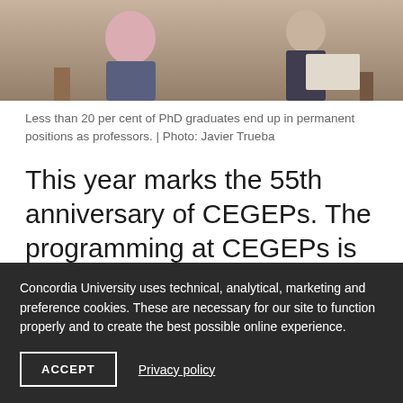[Figure (photo): Students in a classroom setting; one student writing notes visible on the right side.]
Less than 20 per cent of PhD graduates end up in permanent positions as professors. | Photo: Javier Trueba
This year marks the 55th anniversary of CEGEPs. The programming at CEGEPs is separated into technical programs, which allow students to transition into jobs “as soon as they
Concordia University uses technical, analytical, marketing and preference cookies. These are necessary for our site to function properly and to create the best possible online experience.
ACCEPT
Privacy policy